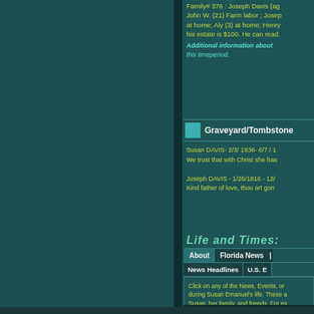Family# 376 : Joseph Davis (ag... John W. (21) Farm labor ; Josep... at home; Aly (3) at home; Henry... his estate is $100. He can read.
Additional information about ... this timeperiod.
Graveyard/Tombstone
Susan DAVIS- 2/3/ 1836- 6/7 / 1... We trust that with Christ she has...
Joseph DAVIS - 1/26/1816 - 12/... Kind father of love, thou art gon...
Life and Times:
About | Florida News | ...
News Headlines | U.S. E...
Click on any of the News, Events, or... during Susan Emanuel's life. These a... Susan, her family, and friends. For ex... Seminole Indian Chief Osceola (Assi... condemned.